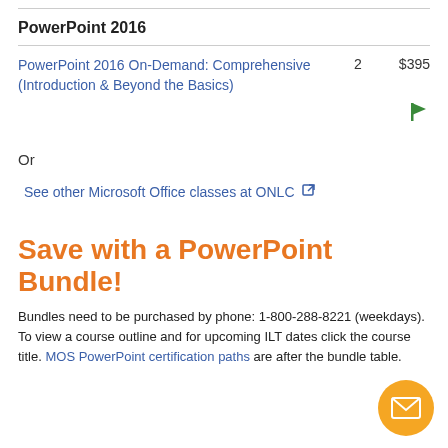PowerPoint 2016
| Course | Days | Price |
| --- | --- | --- |
| PowerPoint 2016 On-Demand: Comprehensive (Introduction & Beyond the Basics) | 2 | $395 |
Or
See other Microsoft Office classes at ONLC [external link]
Save with a PowerPoint Bundle!
Bundles need to be purchased by phone: 1-800-288-8221 (weekdays). To view a course outline and for upcoming ILT dates click the course title. MOS PowerPoint certification paths are after the bundle table.